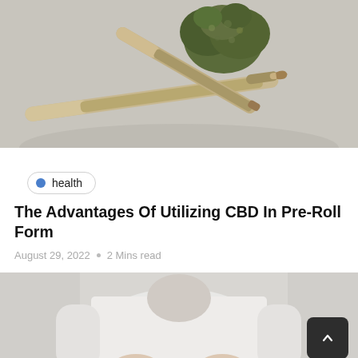[Figure (photo): Close-up photo of two cannabis pre-rolls/joints and a marijuana bud on a light gray surface]
health
The Advantages Of Utilizing CBD In Pre-Roll Form
August 29, 2022  o  2 Mins read
[Figure (photo): Person wearing a white long-sleeve top, partially visible from the torso down, hands at waist level]